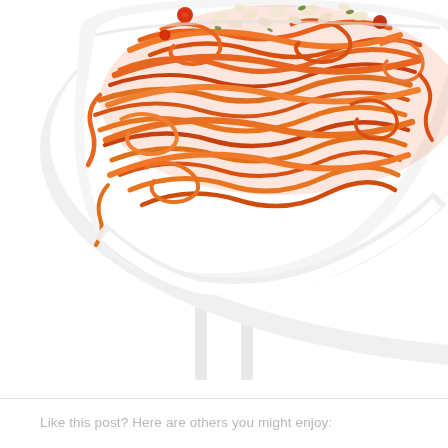[Figure (photo): A white bowl filled with spiralized carrot noodles topped with chopped nuts, red cherry tomatoes, and green herbs, photographed from above on a white background. The bowl is partially visible showing mostly the top half with a white stand/base below.]
Like this post? Here are others you might enjoy: